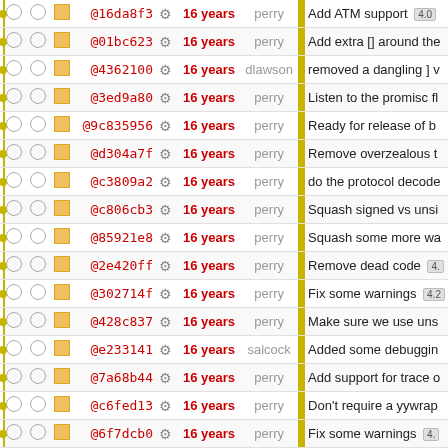|  |  |  | hash |  | age | author |  | description |
| --- | --- | --- | --- | --- | --- | --- | --- | --- |
| • | ○ | ○ | □ | @16da8f3 | ⚙ | 16 years | perry | Add ATM support  4.0 |
| • | ○ | ○ | □ | @01bc623 | ⚙ | 16 years | perry | Add extra [] around the |
| • | ○ | ○ | □ | @4362100 | ⚙ | 16 years | dlawson | removed a dangling ] v |
| • | ○ | ○ | □ | @3ed9a80 | ⚙ | 16 years | perry | Listen to the promisc fl |
| • | ○ | ○ | □ | @9c835956 | ⚙ | 16 years | perry | Ready for release of b |
| • | ○ | ○ | □ | @d304a7f | ⚙ | 16 years | perry | Remove overzealous t |
| • | ○ | ○ | □ | @c3809a2 | ⚙ | 16 years | perry | do the protocol decode |
| • | ○ | ○ | □ | @c806cb3 | ⚙ | 16 years | perry | Squash signed vs unsi |
| • | ○ | ○ | □ | @85921e8 | ⚙ | 16 years | perry | Squash some more wa |
| • | ○ | ○ | □ | @2e420ff | ⚙ | 16 years | perry | Remove dead code  4. |
| • | ○ | ○ | □ | @302714f | ⚙ | 16 years | perry | Fix some warnings  4.2 |
| • | ○ | ○ | □ | @428c837 | ⚙ | 16 years | perry | Make sure we use uns |
| • | ○ | ○ | □ | @e233141 | ⚙ | 16 years | salcock | Added some debuggin |
| • | ○ | ○ | □ | @7a68b44 | ⚙ | 16 years | perry | Add support for trace o |
| • | ○ | ○ | □ | @c6fed13 | ⚙ | 16 years | perry | Don't require a yywrap |
| • | ○ | ○ | □ | @6f7dcb0 | ⚙ | 16 years | perry | Fix some warnings  4. |
| • | ○ | ○ | □ | @bf0f554 | ⚙ | 16 years | perry | Dont link shared library |
| • | ○ | ○ | □ | @73da4ae | ⚙ | 16 years | perry | Squash signedness w |